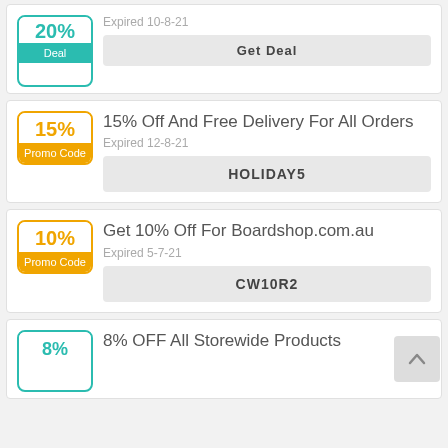[Figure (other): Partial coupon card at top showing teal Deal badge partially cropped, with 'Expired 10-8-21' text and 'Get Deal' button]
15% Off And Free Delivery For All Orders
Expired 12-8-21
HOLIDAY5
Get 10% Off For Boardshop.com.au
Expired 5-7-21
CW10R2
8% OFF All Storewide Products